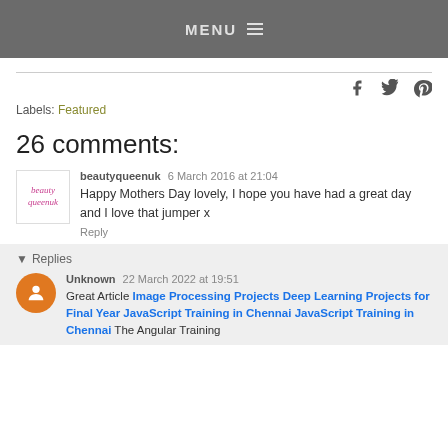MENU
[Figure (logo): beautyqueenuk avatar - handwritten pink/orange italic text logo]
Labels: Featured
26 comments:
beautyqueenuk  6 March 2016 at 21:04
Happy Mothers Day lovely, I hope you have had a great day and I love that jumper x
Reply
Replies
Unknown  22 March 2022 at 19:51
Great Article Image Processing Projects Deep Learning Projects for Final Year JavaScript Training in Chennai JavaScript Training in Chennai The Angular Training covers a wide range of topics including Components